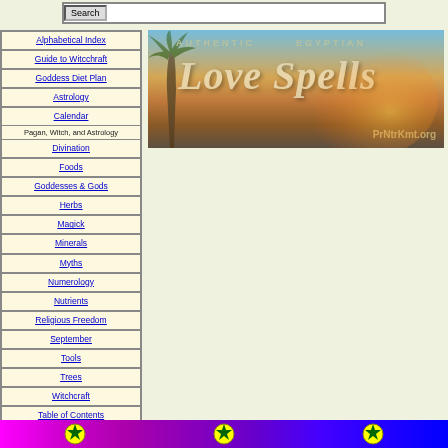Search
Alphabetical Index
Guide to Witcchraft
Goddess Diet Plan
Astrology
Calendar
Pagan, Witch, and Astrology
Divination
Foods
Goddesses & Gods
Herbs
Magick
Minerals
Myths
Numerology
Nutrients
Religious Freedom
September
Tools
Trees
Witchcraft
Table of Contents
[Figure (illustration): Authentic Egyptian Love Spells banner with palm tree silhouette and sunset sky, PrNtrKmt.org]